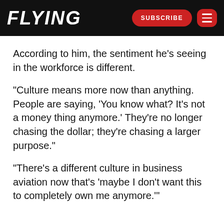FLYING
According to him, the sentiment he’s seeing in the workforce is different.
“Culture means more now than anything. People are saying, ‘You know what? It’s not a money thing anymore.’ They’re no longer chasing the dollar; they’re chasing a larger purpose.”
“There’s a different culture in business aviation now that’s ‘maybe I don’t want this to completely own me anymore.’”